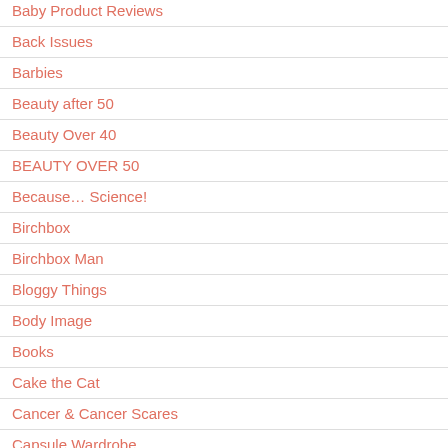Baby Product Reviews
Back Issues
Barbies
Beauty after 50
Beauty Over 40
BEAUTY OVER 50
Because… Science!
Birchbox
Birchbox Man
Bloggy Things
Body Image
Books
Cake the Cat
Cancer & Cancer Scares
Capsule Wardrobe
Child Safety